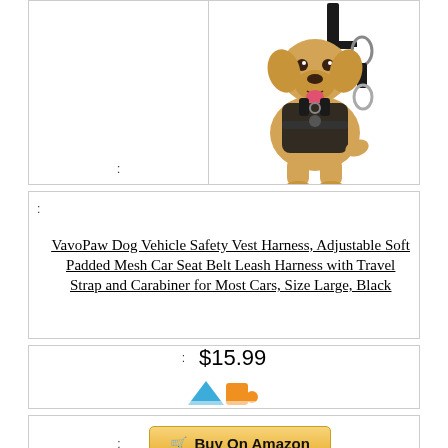[Figure (photo): A golden retriever dog wearing a black VavoPaw vehicle safety vest harness connected to a car seat belt leash with carabiner clip.]
:
: VavoPaw Dog Vehicle Safety Vest Harness, Adjustable Soft Padded Mesh Car Seat Belt Leash Harness with Travel Strap and Carabiner for Most Cars, Size Large, Black
: $15.99
[Figure (logo): Amazon logo (partial)]
: Buy On Amazon